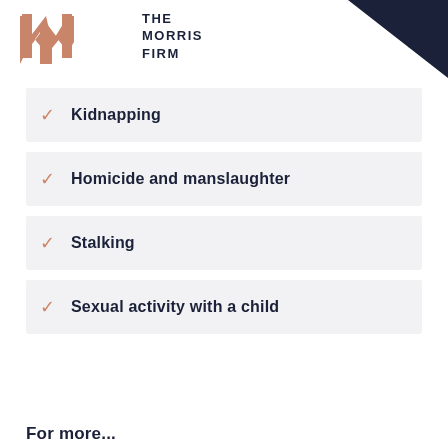THE MORRIS FIRM
Kidnapping
Homicide and manslaughter
Stalking
Sexual activity with a child
For more...